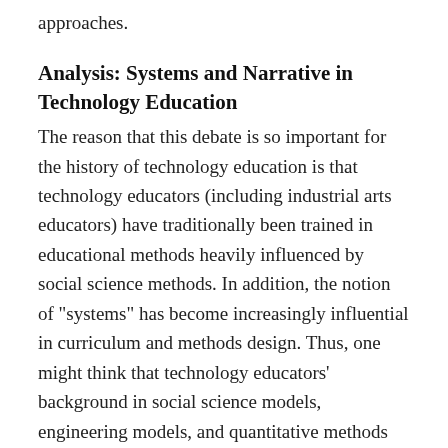approaches.
Analysis: Systems and Narrative in Technology Education
The reason that this debate is so important for the history of technology education is that technology educators (including industrial arts educators) have traditionally been trained in educational methods heavily influenced by social science methods. In addition, the notion of "systems" has become increasingly influential in curriculum and methods design. Thus, one might think that technology educators' background in social science models, engineering models, and quantitative methods would lead them towards the use of such models in historical